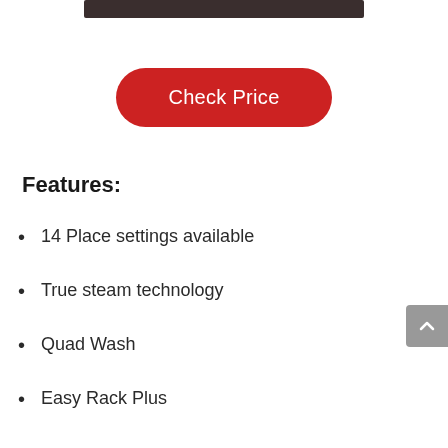[Figure (other): Dark image bar at top of page (partial product image)]
Check Price
Features:
14 Place settings available
True steam technology
Quad Wash
Easy Rack Plus